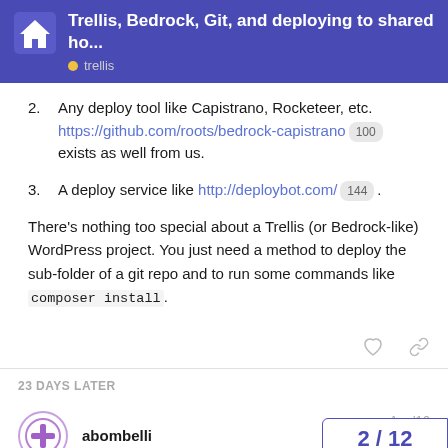Trellis, Bedrock, Git, and deploying to shared ho... • trellis
2. Any deploy tool like Capistrano, Rocketeer, etc. https://github.com/roots/bedrock-capistrano [100] exists as well from us.
3. A deploy service like http://deploybot.com/ [144].
There's nothing too special about a Trellis (or Bedrock-like) WordPress project. You just need a method to deploy the sub-folder of a git repo and to run some commands like composer install.
23 DAYS LATER
abombelli  Apr '16
2 / 12